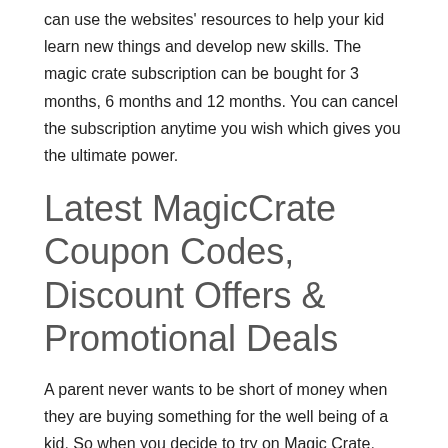can use the websites' resources to help your kid learn new things and develop new skills. The magic crate subscription can be bought for 3 months, 6 months and 12 months. You can cancel the subscription anytime you wish which gives you the ultimate power.
Latest MagicCrate Coupon Codes, Discount Offers & Promotional Deals
A parent never wants to be short of money when they are buying something for the well being of a kid. So when you decide to try on Magic Crate, you may want